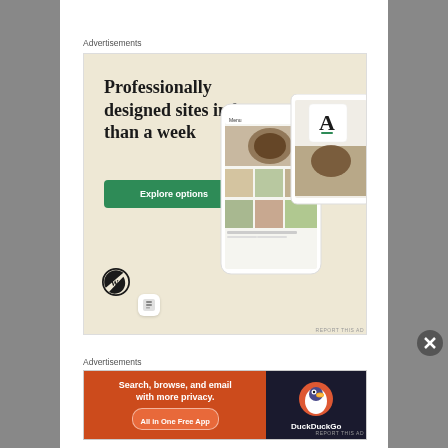Advertisements
[Figure (illustration): WordPress advertisement: 'Professionally designed sites in less than a week' with green 'Explore options' button, WordPress logo, and phone mockup showing website templates on a beige background]
REPORT THIS AD
Advertisements
[Figure (illustration): DuckDuckGo advertisement: 'Search, browse, and email with more privacy. All in One Free App' on orange background with DuckDuckGo logo on dark background]
REPORT THIS AD